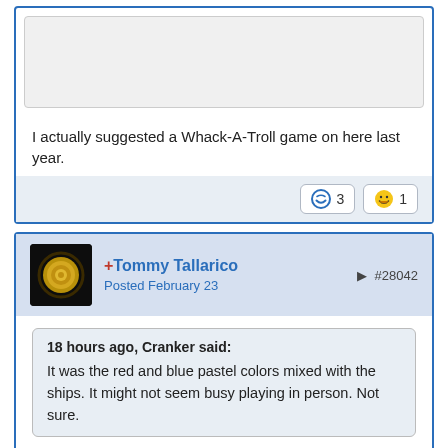[Figure (screenshot): Partial forum post top with an image placeholder area]
I actually suggested a Whack-A-Troll game on here last year.
[Figure (infographic): Reaction buttons showing heart with 3 and laughing emoji with 1]
[Figure (photo): Avatar of Tommy Tallarico - dark circular gold emblem on black background]
+Tommy Tallarico
Posted February 23   #28042
18 hours ago, Cranker said:
It was the red and blue pastel colors mixed with the ships. It might not seem busy playing in person. Not sure.
Yeah... just watching everything on a full screen without having control of anything may look like there is a ton going on.  But when you play it and are really only focused mainly on your